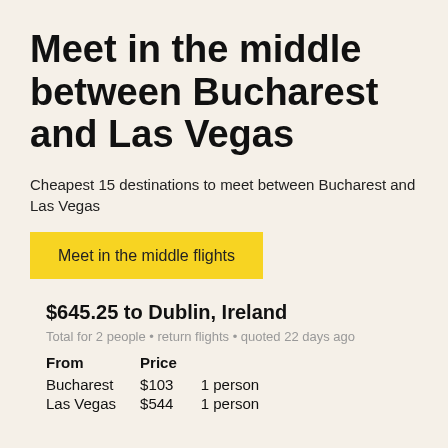Meet in the middle between Bucharest and Las Vegas
Cheapest 15 destinations to meet between Bucharest and Las Vegas
Meet in the middle flights
$645.25 to Dublin, Ireland
Total for 2 people • return flights • quoted 22 days ago
| From | Price |  |
| --- | --- | --- |
| Bucharest | $103 | 1 person |
| Las Vegas | $544 | 1 person |